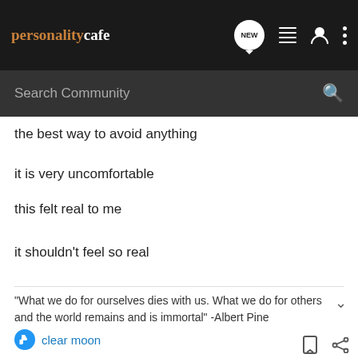personalitycafe — NEW (navigation icons)
Search Community
the best way to avoid anything
it is very uncomfortable
this felt real to me
it shouldn't feel so real
"What we do for ourselves dies with us. What we do for others and the world remains and is immortal" -Albert Pine
clear moon